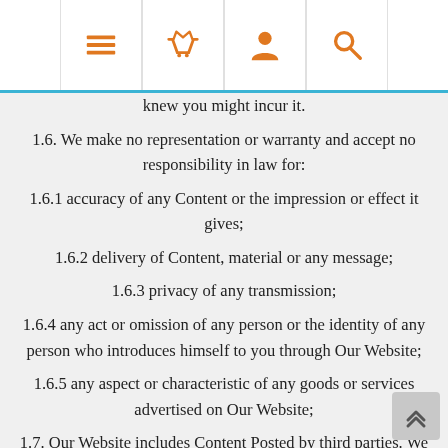Navigation header with menu, basket, profile, and search icons
knew you might incur it.
1.6. We make no representation or warranty and accept no responsibility in law for:
1.6.1 accuracy of any Content or the impression or effect it gives;
1.6.2 delivery of Content, material or any message;
1.6.3 privacy of any transmission;
1.6.4 any act or omission of any person or the identity of any person who introduces himself to you through Our Website;
1.6.5 any aspect or characteristic of any goods or services advertised on Our Website;
1.7. Our Website includes Content Posted by third parties. We are not responsible for any such Content. If you come across